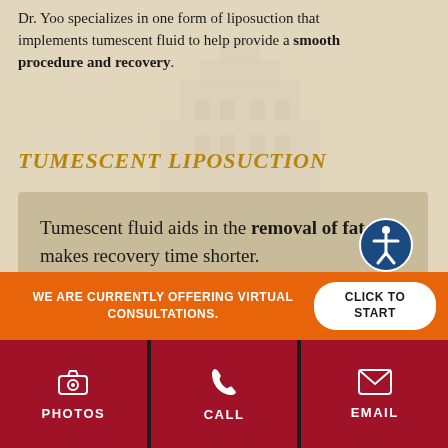Dr. Yoo specializes in one form of liposuction that implements tumescent fluid to help provide a smooth procedure and recovery.
TUMESCENT LIPOSUCTION
Tumescent fluid aids in the removal of fat and makes recovery time shorter.
This lipo technique uses a combination of fluids to help reduce trauma to tissues during lipo surgery and help you
WE ARE CURRENTLY OFFERING VIRTUAL CONSULTATIONS.
CLICK TO START
PHOTOS
CALL
EMAIL